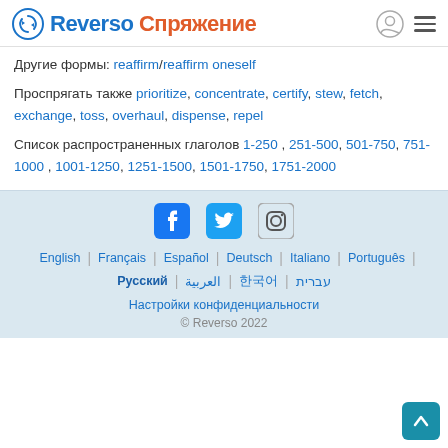Reverso Спряжение
Другие формы: reaffirm/reaffirm oneself
Проспрягать также prioritize, concentrate, certify, stew, fetch, exchange, toss, overhaul, dispense, repel
Список распространенных глаголов 1-250 , 251-500, 501-750, 751-1000 , 1001-1250, 1251-1500, 1501-1750, 1751-2000
[Figure (logo): Social media icons: Facebook, Twitter, Instagram]
English | Français | Español | Deutsch | Italiano | Português | Русский | العربية | 한국어 | עברית
Настройки конфиденциальности
© Reverso 2022